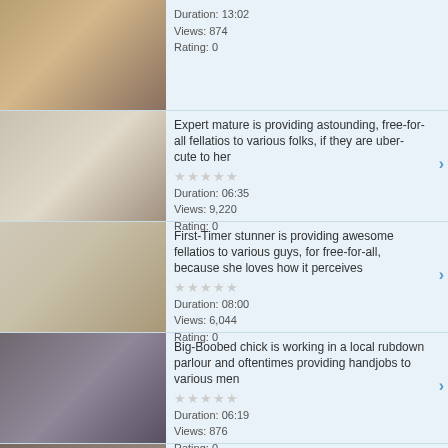Duration: 13:02
Views: 874
Rating: 0
Expert mature is providing astounding, free-for-all fellatios to various folks, if they are uber-cute to her
Duration: 06:35
Views: 9,220
Rating: 0
First-Timer stunner is providing awesome fellatios to various guys, for free-for-all, because she loves how it perceives
Duration: 08:00
Views: 6,044
Rating: 0
Big-Boobed chick is working in a local rubdown parlour and oftentimes providing handjobs to various men
Duration: 06:19
Views: 876
Rating: 0